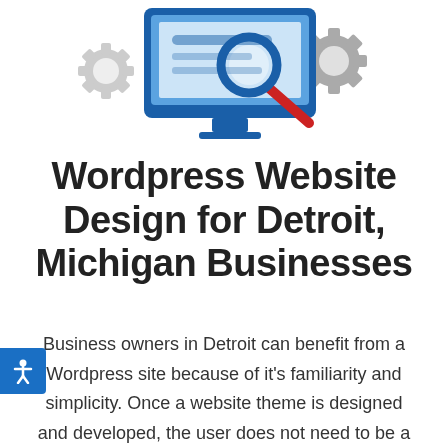[Figure (illustration): Illustration of a desktop computer monitor with a magnifying glass and search/SEO gear icons in blue, red and grey colors]
Wordpress Website Design for Detroit, Michigan Businesses
Business owners in Detroit can benefit from a Wordpress site because of it's familiarity and simplicity. Once a website theme is designed and developed, the user does not need to be a web developer to add content to Wordpress. We prefer Wordpress over other type of websites because it's easy to use, but still very powerful if